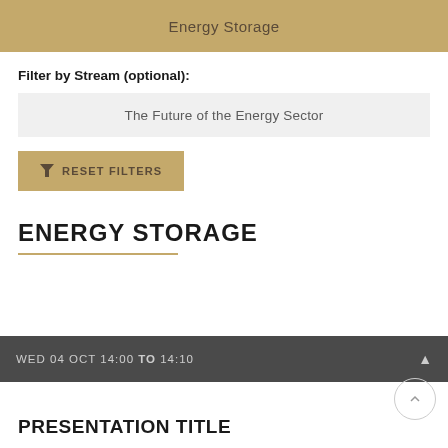Energy Storage
Filter by Stream (optional):
The Future of the Energy Sector
RESET FILTERS
ENERGY STORAGE
WED 04 OCT 14:00 TO 14:10
PRESENTATION TITLE